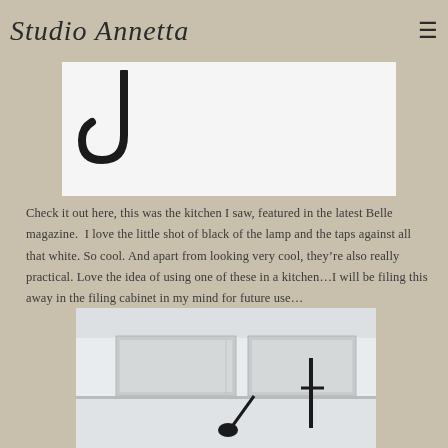Studio Annetta
[Figure (photo): A black metal hook or lamp fixture photographed against a white background, showing a curved black hook shape in the upper left of the image area]
Check it out here, this was the kitchen I saw, featured in the latest Belle magazine. I love the little shot of black of the lamp and the taps against all that white. So cool. And apart from looking very cool, they're also really practical. Love the idea of using one of these in a kitchen…I will be filing this away in the filing cabinet in my mind for future use…
[Figure (photo): Interior photo of a white minimalist kitchen with open shelving displaying glass-fronted cabinets at top, and a black adjustable floor lamp with black tap fixtures visible in the background corridor of the bright white space]